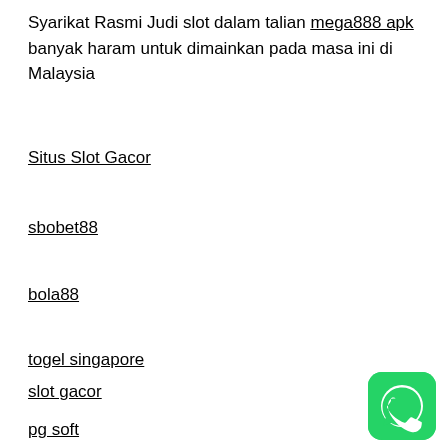Syarikat Rasmi Judi slot dalam talian mega888 apk banyak haram untuk dimainkan pada masa ini di Malaysia
Situs Slot Gacor
sbobet88
bola88
togel singapore
slot gacor
pg soft
[Figure (logo): WhatsApp green logo icon in bottom right corner]